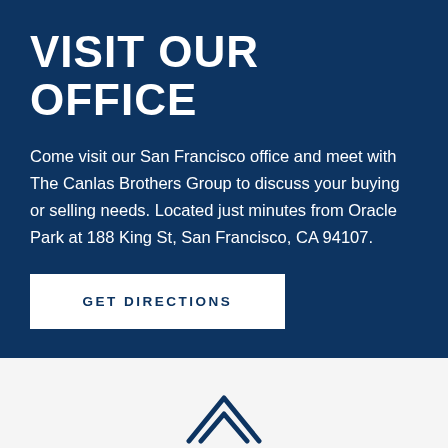VISIT OUR OFFICE
Come visit our San Francisco office and meet with The Canlas Brothers Group to discuss your buying or selling needs. Located just minutes from Oracle Park at 188 King St, San Francisco, CA 94107.
GET DIRECTIONS
[Figure (illustration): Upward arrow icon in dark navy blue]